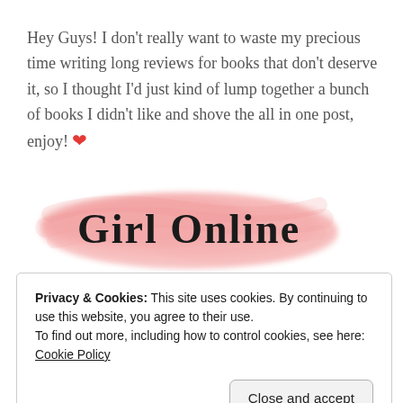Hey Guys! I don't really want to waste my precious time writing long reviews for books that don't deserve it, so I thought I'd just kind of lump together a bunch of books I didn't like and shove the all in one post, enjoy! ❤
[Figure (illustration): Pink watercolor brush stroke background with cursive text 'Girl Online' in black script font]
Privacy & Cookies: This site uses cookies. By continuing to use this website, you agree to their use. To find out more, including how to control cookies, see here: Cookie Policy
Close and accept